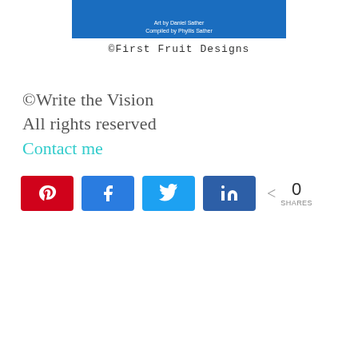[Figure (illustration): Book cover art with blue background, text 'Art by Daniel Sather Compiled by Phyllis Sather']
©First Fruit Designs
©Write the Vision
All rights reserved
Contact me
[Figure (infographic): Social share buttons: Pinterest (red), Facebook (blue), Twitter (light blue), LinkedIn (dark blue), share count 0 SHARES]